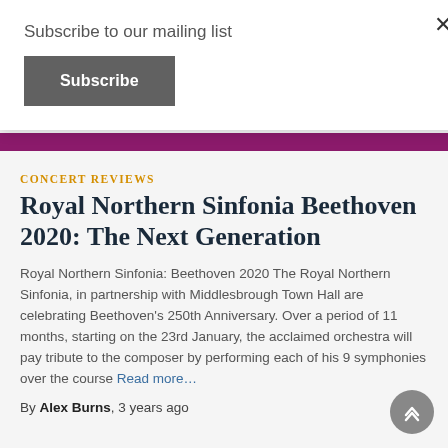Subscribe to our mailing list
Subscribe
[Figure (other): Purple decorative bar spanning page width]
CONCERT REVIEWS
Royal Northern Sinfonia Beethoven 2020: The Next Generation
Royal Northern Sinfonia: Beethoven 2020 The Royal Northern Sinfonia, in partnership with Middlesbrough Town Hall are celebrating Beethoven's 250th Anniversary. Over a period of 11 months, starting on the 23rd January, the acclaimed orchestra will pay tribute to the composer by performing each of his 9 symphonies over the course Read more…
By Alex Burns, 3 years ago